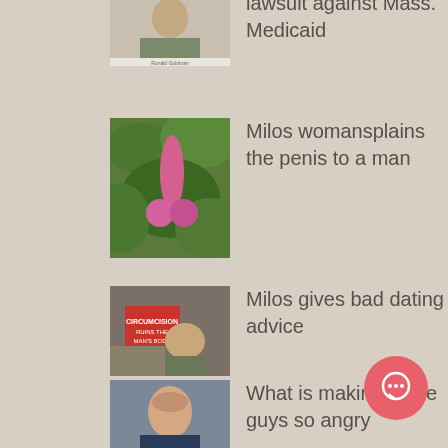lawsuit against Mass. Medicaid
Milos womansplains the penis to a man
Milos gives bad dating advice
What is making these guys so angry